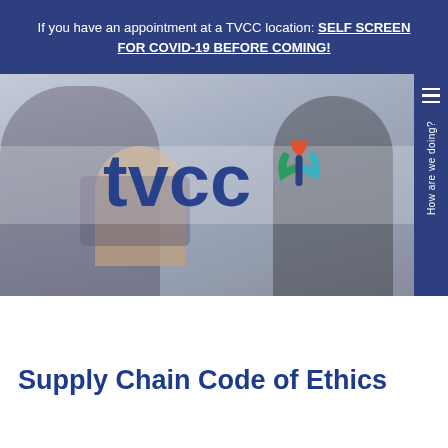If you have an appointment at a TVCC location: SELF SCREEN FOR COVID-19 BEFORE COMING!
[Figure (photo): TVCC logo overlaid on photo of family (two adults and a child) sitting together looking at a tablet device. A sidebar on the right reads 'How are we doing?']
Supply Chain Code of Ethics